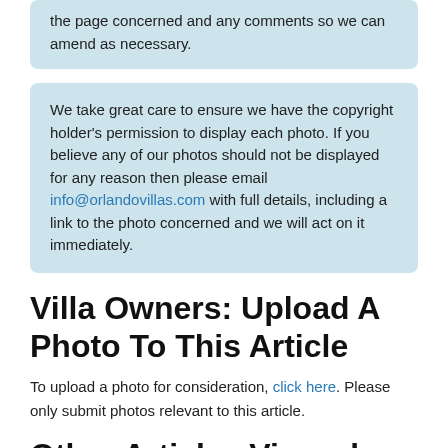the page concerned and any comments so we can amend as necessary.
We take great care to ensure we have the copyright holder's permission to display each photo. If you believe any of our photos should not be displayed for any reason then please email info@orlandovillas.com with full details, including a link to the photo concerned and we will act on it immediately.
Villa Owners: Upload A Photo To This Article
To upload a photo for consideration, click here. Please only submit photos relevant to this article.
Other Articles Viewed